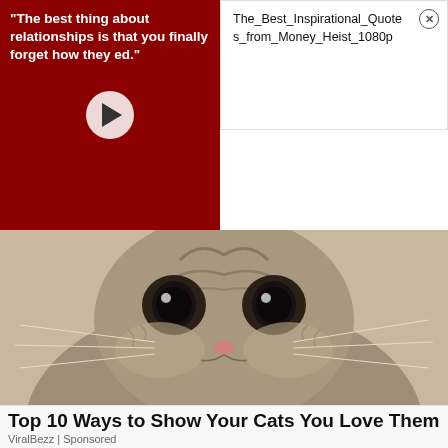[Figure (screenshot): Video thumbnail with dark red background showing text: "The best thing about relationships is that you finally forget how they ended." with a white play button circle overlay]
The_Best_Inspirational_Quotes_from_Money_Heist_1080p
[Figure (photo): Close-up photo of a sad-looking tabby cat with large round eyes staring at camera, striped fur, pink nose, and long white whiskers against a beige background]
Top 10 Ways to Show Your Cats You Love Them
ViralBezz | Sponsored